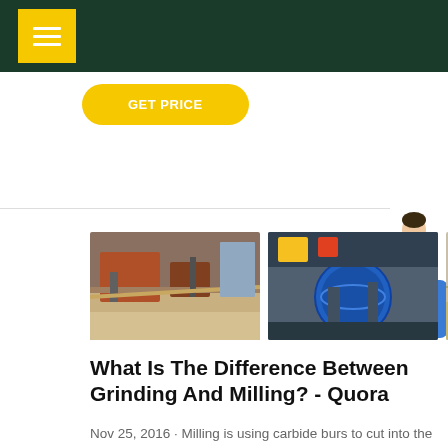GET PRICE
[Figure (photo): Three photos of industrial grinding/milling machinery and mining equipment at a plant site]
What Is The Difference Between Grinding And Milling? - Quora
Nov 25, 2016 · Milling is using carbide burs to cut into the block with a punching motion. A large carbide does the majority of the work, and then a